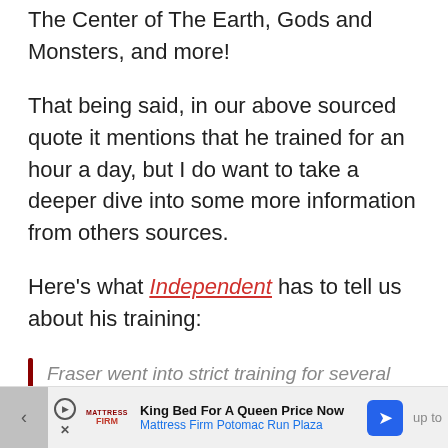The Center of The Earth, Gods and Monsters, and more!
That being said, in our above sourced quote it mentions that he trained for an hour a day, but I do want to take a deeper dive into some more information from others sources.
Here’s what Independent has to tell us about his training:
Fraser went into strict training for several months before shooting began, and did a pumping iron
King Bed For A Queen Price Now Mattress Firm Potomac Run Plaza